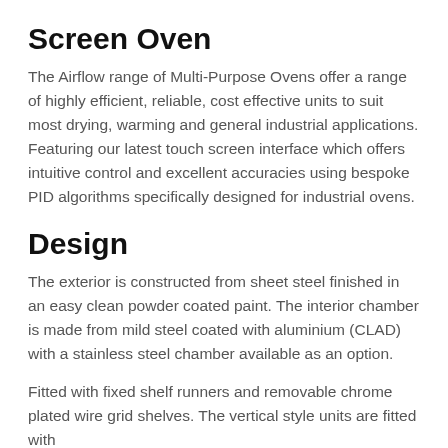Screen Oven
The Airflow range of Multi-Purpose Ovens offer a range of highly efficient, reliable, cost effective units to suit most drying, warming and general industrial applications. Featuring our latest touch screen interface which offers intuitive control and excellent accuracies using bespoke PID algorithms specifically designed for industrial ovens.
Design
The exterior is constructed from sheet steel finished in an easy clean powder coated paint. The interior chamber is made from mild steel coated with aluminium (CLAD) with a stainless steel chamber available as an option.
Fitted with fixed shelf runners and removable chrome plated wire grid shelves. The vertical style units are fitted with